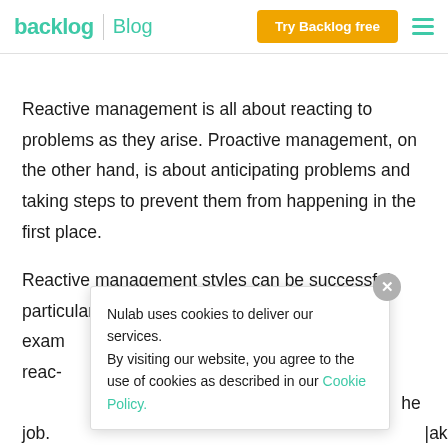backlog Blog | Try Backlog free
Reactive management is all about reacting to problems as they arise. Proactive management, on the other hand, is about anticipating problems and taking steps to prevent them from happening in the first place.
Reactive management styles can be successful, particularly when there's no time to waste. For example, a reactive management style can help get the job. The key is to make what issue at hand.
Nulab uses cookies to deliver our services. By visiting our website, you agree to the use of cookies as described in our Cookie Policy.